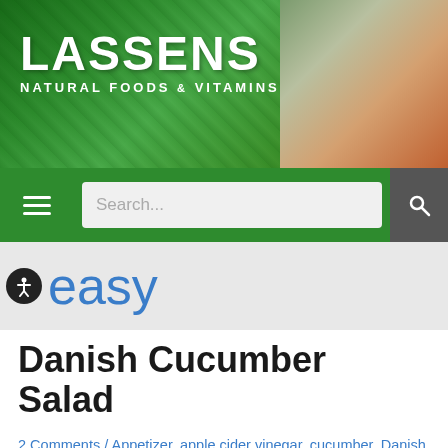[Figure (logo): Lassens Natural Foods & Vitamins logo on green and nature background with person holding carrots]
[Figure (screenshot): Green navigation bar with hamburger menu, search box placeholder 'Search...', and gray search button with magnifying glass icon]
easy
Danish Cucumber Salad
2 Comments / Appetizer, apple cider vinegar, cucumber, Danish, easy, Healthy, Lassen's History, Lassens natural foods market, Oda Lassen, Salad, vegan, Vegetables, Vegetarian / By Gayle
Salad, Side Dish, Appetizer, Sandwich Topping — You Will Love this Simple and Easy Recipe! If you have enjoyed a Danish